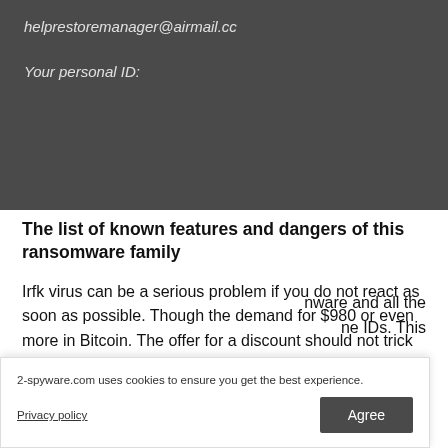helprestoremanager@airmail.cc
Your personal ID:
The list of known features and dangers of this ransomware family
Irfk virus can be a serious problem if you do not react as soon as possible. Though the demand for $980 or even more in Bitcoin. The offer for a discount should not trick you. Djvu family of viruses is no longer decryptable. Criminals do not decrypt data and instead leave behind obstacles such as blocks on devices which makes recovering files nearly impossible- especially since new versions come one after
nware and all the ne IDs. This
2-spyware.com uses cookies to ensure you get the best experience.
Privacy policy
Agree